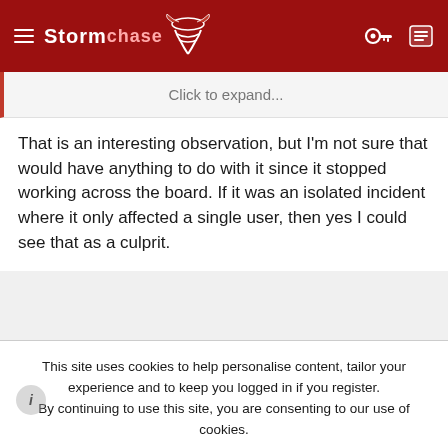StormChaser [logo] — navigation header with hamburger menu, key icon, and menu icon
Click to expand...
That is an interesting observation, but I'm not sure that would have anything to do with it since it stopped working across the board. If it was an isolated incident where it only affected a single user, then yes I could see that as a culprit.
J Weeks
Enthusiast
This site uses cookies to help personalise content, tailor your experience and to keep you logged in if you register.
By continuing to use this site, you are consenting to our use of cookies.
✓ ACCEPT    LEARN MORE...